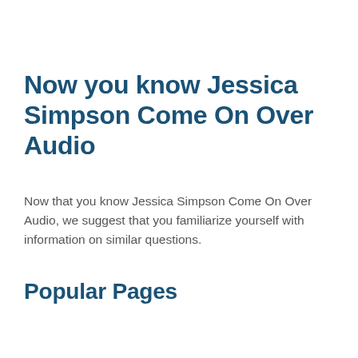Now you know Jessica Simpson Come On Over Audio
Now that you know Jessica Simpson Come On Over Audio, we suggest that you familiarize yourself with information on similar questions.
Popular Pages